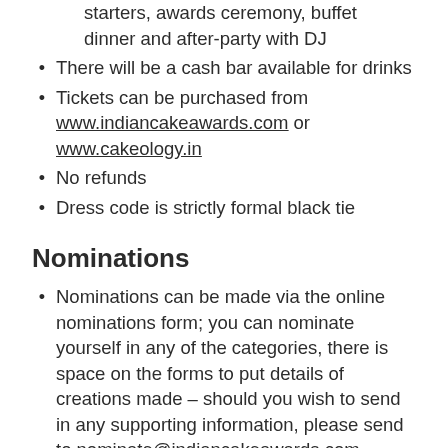starters, awards ceremony, buffet dinner and after-party with DJ
There will be a cash bar available for drinks
Tickets can be purchased from www.indiancakeawards.com or www.cakeology.in
No refunds
Dress code is strictly formal black tie
Nominations
Nominations can be made via the online nominations form; you can nominate yourself in any of the categories, there is space on the forms to put details of creations made – should you wish to send in any supporting information, please send to nominate@indiancakeawards.com
The nominations process allows you to nominate any creator based